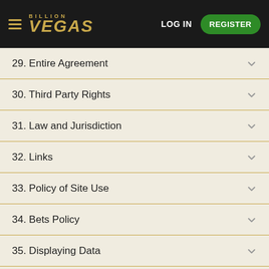BILLION VEGAS | LOG IN | REGISTER
29. Entire Agreement
30. Third Party Rights
31. Law and Jurisdiction
32. Links
33. Policy of Site Use
34. Bets Policy
35. Displaying Data